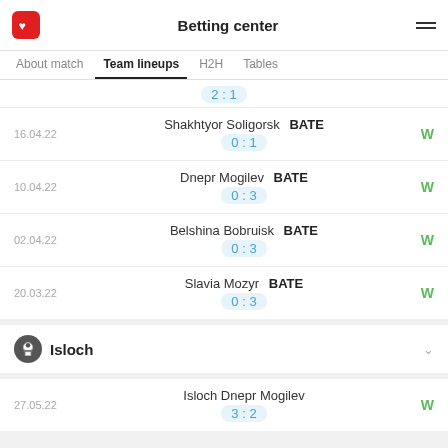Betting center
About match | Team lineups | H2H | Tables
2 : 1
16.04.22 | Shakhtyor Soligorsk BATE | 0 : 1 | W
10.04.22 | Dnepr Mogilev BATE | 0 : 3 | W
02.04.22 | Belshina Bobruisk BATE | 0 : 3 | W
20.03.22 | Slavia Mozyr BATE | 0 : 3 | W
Isloch
27.05.22 | Isloch Dnepr Mogilev | 3 : 2 | W